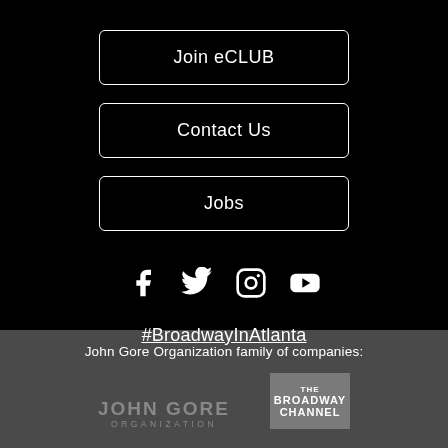Join eCLUB
Contact Us
Jobs
[Figure (infographic): Social media icons: Facebook, Twitter, Instagram, YouTube]
#BroadwayInAtlanta
John Gore Organization family of companies:
[Figure (logo): John Gore Organization logo and The Broadway Channel logo]